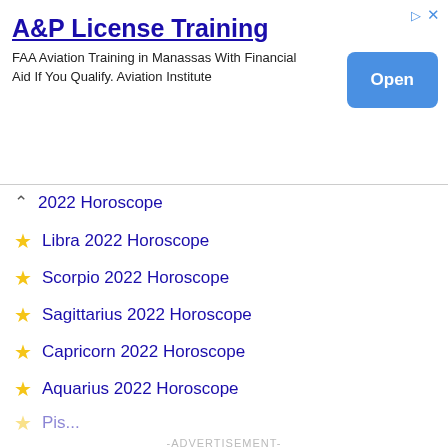[Figure (screenshot): Advertisement banner for A&P License Training. Title: 'A&P License Training'. Body: 'FAA Aviation Training in Manassas With Financial Aid If You Qualify. Aviation Institute'. Blue 'Open' button on right.]
2022 Horoscope (partially visible, with chevron up)
Libra 2022 Horoscope
Scorpio 2022 Horoscope
Sagittarius 2022 Horoscope
Capricorn 2022 Horoscope
Aquarius 2022 Horoscope
-ADVERTISEMENT-
[Figure (screenshot): Video player overlay on dark background. Title: 'How To Open 7 Chakras - Meditation and Healing - SunSigns.Org'. Shows a circular play button and a yellow dot on the left thumbnail area. X close button top-left.]
Rabbit 2022 Horoscope
Dragon 2022 Horoscope
Snake 2022 Horoscope
Horse 2022 Horoscope (partially visible)